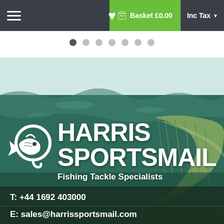≡  ♥  Basket £0.00  Inc Tax ▼
[Figure (screenshot): Slideshow dot indicators: 7 dots, first one active (dark), rest light grey]
[Figure (photo): Underwater photo of a fish, showing water surface from below with green tinted water, fish fins visible on right side]
HARRIS SPORTSMAIL
Fishing Tackle Specialists
T: +44 1692 403000
E: sales@harrissportsmail.com